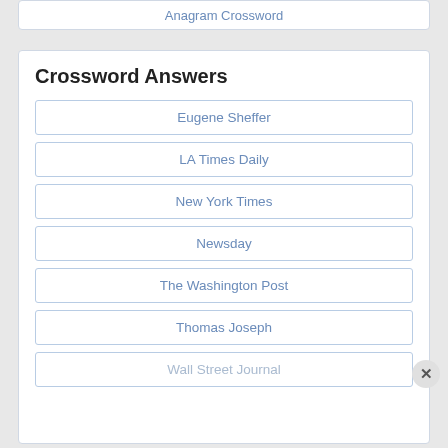Anagram Crossword
Crossword Answers
Eugene Sheffer
LA Times Daily
New York Times
Newsday
The Washington Post
Thomas Joseph
Wall Street Journal